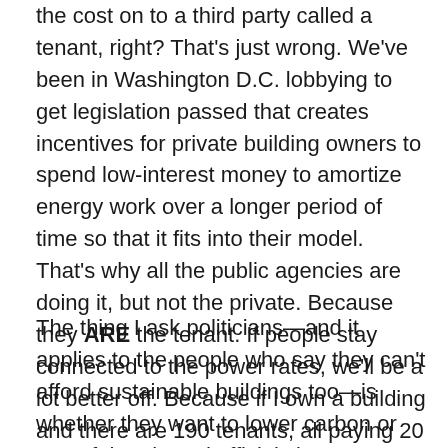the cost on to a third party called a tenant, right? That's just wrong. We've been in Washington D.C. lobbying to get legislation passed that creates incentives for private building owners to spend low-interest money to amortize energy work over a longer period of time so that it fits into their model. That's why all the public agencies are doing it, but not the private. Because they ARE the tenant. If people stay connected to the power rates, we'll be a lot better off. Because if I own a building and there are 190 tenants, all paying 20 percent too much for power, that's a lot of room for improvement.
The thing I ask politicians—and it applies to the people who say they can't afford sustainable buildings too—is whether they want to lower carbon or not? If the elected officials in a community don't want to do it, then there's no